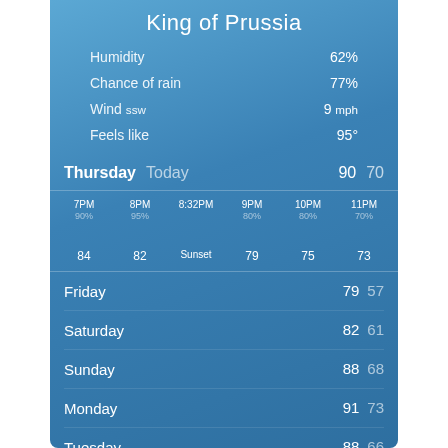King of Prussia
| Label | Value |
| --- | --- |
| Humidity | 62% |
| Chance of rain | 77% |
| Wind ssw | 9 mph |
| Feels like | 95° |
Thursday  Today  90  70
| Time | Pct | Temp |
| --- | --- | --- |
| 7PM | 90% | 84 |
| 8PM | 95% | 82 |
| 8:32PM | — | Sunset |
| 9PM | 80% | 79 |
| 10PM | 80% | 75 |
| 11PM | 70% | 73 |
| Day | Icon | Hi | Lo |
| --- | --- | --- | --- |
| Friday | cloudy | 79 | 57 |
| Saturday | sunny | 82 | 61 |
| Sunday | partly sunny | 88 | 68 |
| Monday | partly cloudy | 91 | 73 |
| Tuesday | rainy | 88 | 66 |
YAHOO!